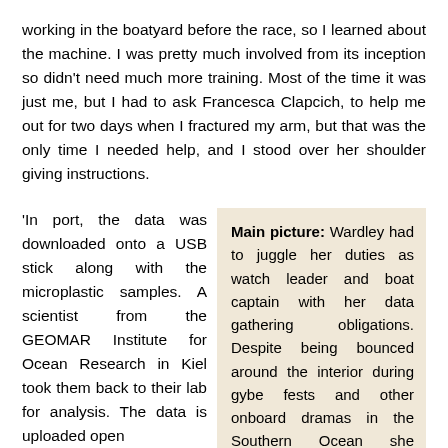working in the boatyard before the race, so I learned about the machine. I was pretty much involved from its inception so didn't need much more training. Most of the time it was just me, but I had to ask Francesca Clapcich, to help me out for two days when I fractured my arm, but that was the only time I needed help, and I stood over her shoulder giving instructions.
'In port, the data was downloaded onto a USB stick along with the microplastic samples. A scientist from the GEOMAR Institute for Ocean Research in Kiel took them back to their lab for analysis. The data is uploaded open
Main picture: Wardley had to juggle her duties as watch leader and boat captain with her data gathering obligations. Despite being bounced around the interior during gybe fests and other onboard dramas in the Southern Ocean she somehow missed only two recordings in 45,000 miles of